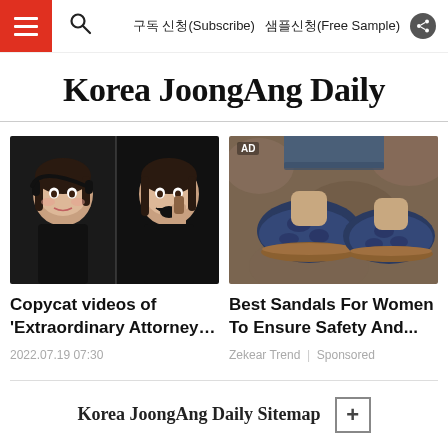Korea JoongAng Daily — Navigation bar with hamburger menu, search icon, 구독 신청(Subscribe), 샘플신청(Free Sample), share button
Korea JoongAng Daily
[Figure (photo): Two side-by-side photos of young Korean women — left: woman with headphones, right: woman with open mouth eating something]
Copycat videos of 'Extraordinary Attorney…
2022.07.19 07:30
[Figure (photo): AD — Close-up of feet wearing dark blue sandals/shoes on a stone surface, jeans visible at the top]
Best Sandals For Women To Ensure Safety And...
Zekear Trend | Sponsored
Korea JoongAng Daily Sitemap +